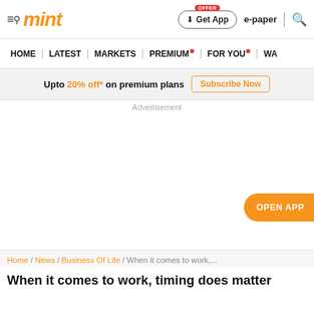mint — Get App | e-paper | search
HOME | LATEST | MARKETS | PREMIUM | FOR YOU | WA
Upto 20% off* on premium plans  Subscribe Now
Advertisement
OPEN APP
Home / News / Business Of Life / When it comes to work,...
When it comes to work, timing does matter